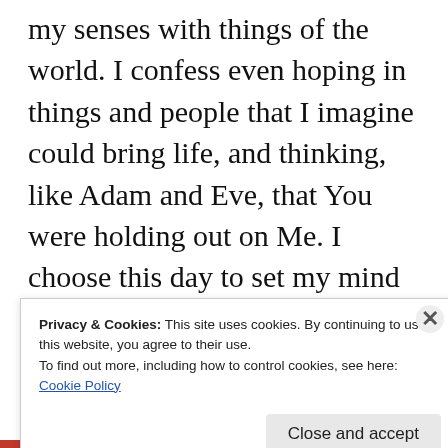my senses with things of the world. I confess even hoping in things and people that I imagine could bring life, and thinking, like Adam and Eve, that You were holding out on Me. I choose this day to set my mind on You, the Author and Perfector of my faith. I ask You to cause me to know that You are my satisfaction, to help me with my
Privacy & Cookies: This site uses cookies. By continuing to use this website, you agree to their use.
To find out more, including how to control cookies, see here: Cookie Policy